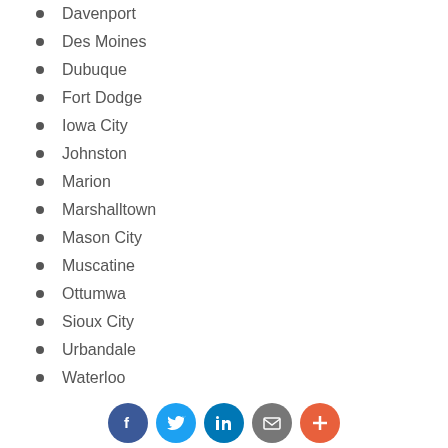Davenport
Des Moines
Dubuque
Fort Dodge
Iowa City
Johnston
Marion
Marshalltown
Mason City
Muscatine
Ottumwa
Sioux City
Urbandale
Waterloo
Waukee